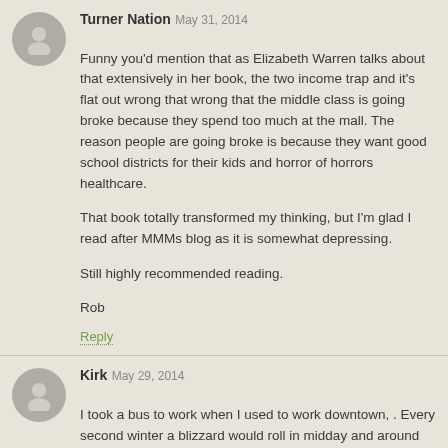Turner Nation
May 31, 2014
Funny you'd mention that as Elizabeth Warren talks about that extensively in her book, the two income trap and it's flat out wrong that wrong that the middle class is going broke because they spend too much at the mall. The reason people are going broke is because they want good school districts for their kids and horror of horrors healthcare.
That book totally transformed my thinking, but I'm glad I read after MMMs blog as it is somewhat depressing.
Still highly recommended reading.
Rob
Reply
Kirk
May 29, 2014
I took a bus to work when I used to work downtown, . Every second winter a blizzard would roll in midday and around 1pm management would finally tell us to go home. More than often the first winter, who had driven to work...